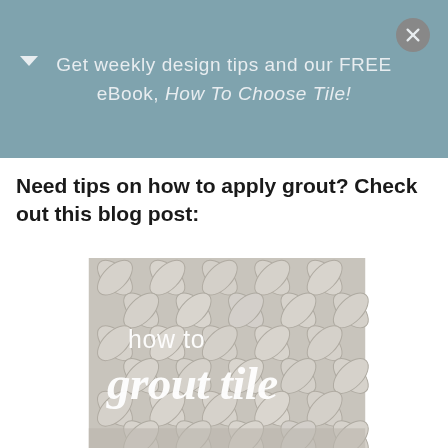Get weekly design tips and our FREE eBook, How To Choose Tile!
Need tips on how to apply grout? Check out this blog post:
[Figure (photo): Close-up photo of grey petal/arabesque shaped mosaic tiles with grout lines, overlaid with white script text reading 'how to grout tile']